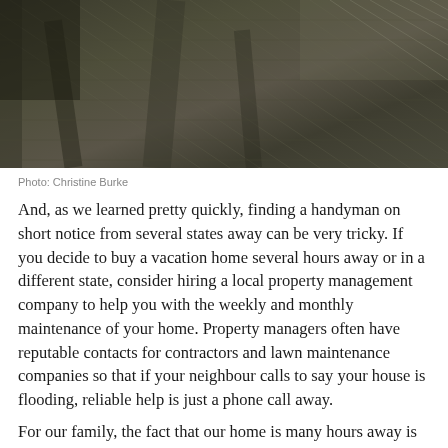[Figure (photo): Close-up photograph of wooden deck or porch structure, showing wooden planks and beams at an angle, in dark muted tones]
Photo: Christine Burke
And, as we learned pretty quickly, finding a handyman on short notice from several states away can be very tricky. If you decide to buy a vacation home several hours away or in a different state, consider hiring a local property management company to help you with the weekly and monthly maintenance of your home. Property managers often have reputable contacts for contractors and lawn maintenance companies so that if your neighbour calls to say your house is flooding, reliable help is just a phone call away.
For our family, the fact that our home is many hours away is